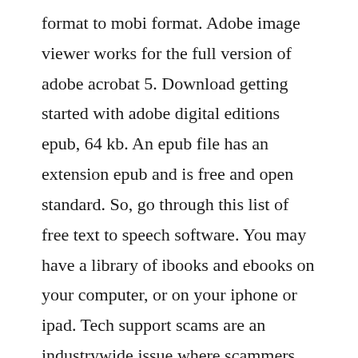format to mobi format. Adobe image viewer works for the full version of adobe acrobat 5. Download getting started with adobe digital editions epub, 64 kb. An epub file has an extension epub and is free and open standard. So, go through this list of free text to speech software. You may have a library of ibooks and ebooks on your computer, or on your iphone or ipad. Tech support scams are an industrywide issue where scammers trick you into paying for unnecessary technical support services.